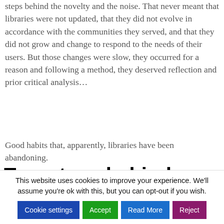steps behind the novelty and the noise. That never meant that libraries were not updated, that they did not evolve in accordance with the communities they served, and that they did not grow and change to respond to the needs of their users. But those changes were slow, they occurred for a reason and following a method, they deserved reflection and prior critical analysis…
Good habits that, apparently, libraries have been abandoning.
Two steps behind
Shelters of our stories, repositories of memories and cultural expressions, guardians of knowledge –
This website uses cookies to improve your experience. We'll assume you're ok with this, but you can opt-out if you wish.